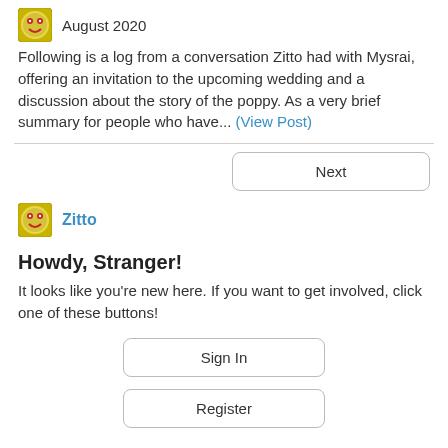August 2020
Following is a log from a conversation Zitto had with Mysrai, offering an invitation to the upcoming wedding and a discussion about the story of the poppy. As a very brief summary for people who have... (View Post)
Next
Zitto
Howdy, Stranger!
It looks like you're new here. If you want to get involved, click one of these buttons!
Sign In
Register